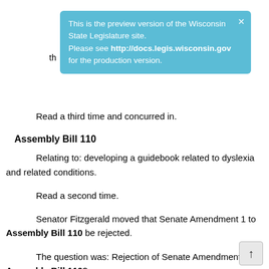[Figure (screenshot): Blue notification banner: 'This is the preview version of the Wisconsin State Legislature site. Please see http://docs.legis.wisconsin.gov for the production version.' with a close X button.]
Read a third time and concurred in.
Assembly Bill 110
Relating to: developing a guidebook related to dyslexia and related conditions.
Read a second time.
Senator Fitzgerald moved that Senate Amendment 1 to Assembly Bill 110 be rejected.
The question was: Rejection of Senate Amendment 1 to Assembly Bill 110?